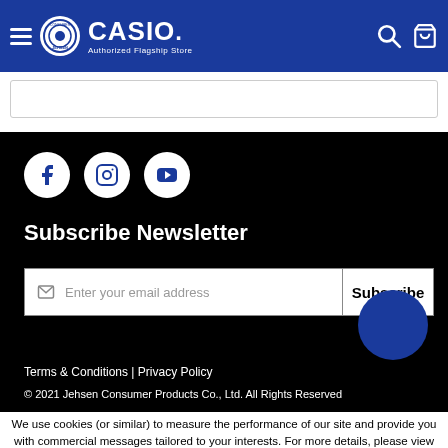CASIO Authorized Flagship Store — Jehsen Consumer
[Figure (screenshot): Search bar input field]
[Figure (screenshot): Social media icons: Facebook, Instagram, YouTube]
Subscribe Newsletter
[Figure (screenshot): Email subscription input field with Subscribe button]
Terms & Conditions | Privacy Policy
© 2021 Jehsen Consumer Products Co., Ltd. All Rights Reserved
We use cookies (or similar) to measure the performance of our site and provide you with commercial messages tailored to your interests. For more details, please view our Privacy Policy .